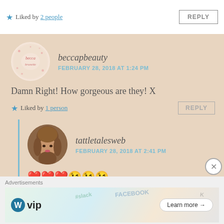Liked by 2 people
REPLY
beccapbeauty
FEBRUARY 28, 2018 AT 1:24 PM
Damn Right! How gorgeous are they! X
Liked by 1 person
REPLY
tattletalesweb
FEBRUARY 28, 2018 AT 2:41 PM
❤️❤️❤️😘😘😘
Advertisements
[Figure (logo): WordPress VIP logo with Learn more button in advertisement banner]